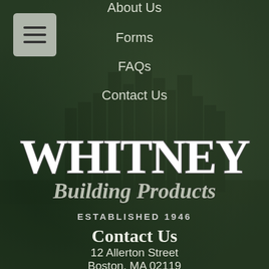[Figure (screenshot): Website navigation menu for Whitney Building Products with dark green city background overlay]
About Us
Forms
FAQs
Contact Us
[Figure (logo): Whitney Building Products logo — large gothic lettering WHITNEY above script 'Building Products']
ESTABLISHED 1946
Contact Us
12 Allerton Street
Boston, MA 02119